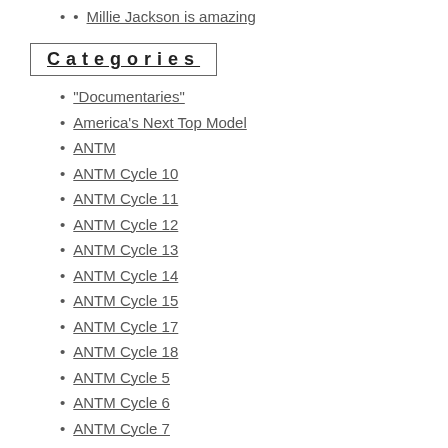Millie Jackson is amazing
Categories
"Documentaries"
America's Next Top Model
ANTM
ANTM Cycle 10
ANTM Cycle 11
ANTM Cycle 12
ANTM Cycle 13
ANTM Cycle 14
ANTM Cycle 15
ANTM Cycle 17
ANTM Cycle 18
ANTM Cycle 5
ANTM Cycle 6
ANTM Cycle 7
ANTM Cycle 8
ANTM Cycle 9